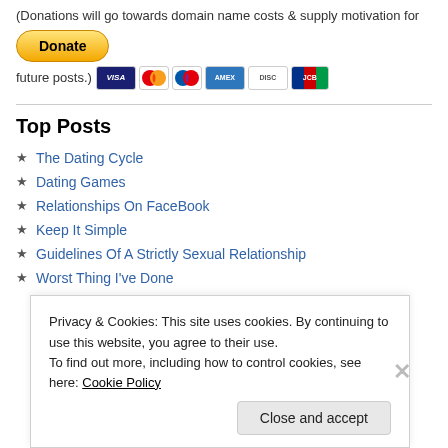(Donations will go towards domain name costs & supply motivation for future posts.)
[Figure (other): PayPal Donate button with credit card icons (Visa, Mastercard, Maestro, Amex, Discover, JCB)]
Top Posts
The Dating Cycle
Dating Games
Relationships On FaceBook
Keep It Simple
Guidelines Of A Strictly Sexual Relationship
Worst Thing I've Done
Privacy & Cookies: This site uses cookies. By continuing to use this website, you agree to their use.
To find out more, including how to control cookies, see here: Cookie Policy